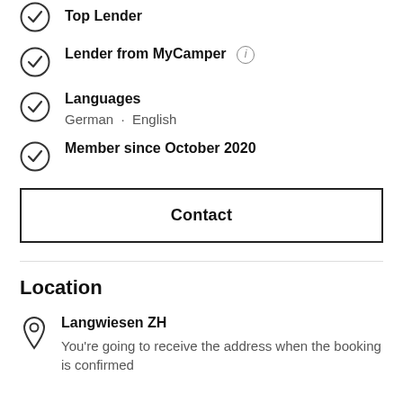Lender from MyCamper
Languages: German · English
Member since October 2020
Contact
Location
Langwiesen ZH
You're going to receive the address when the booking is confirmed